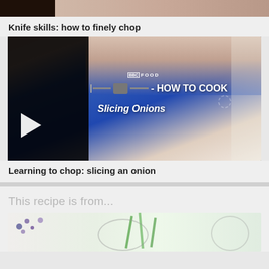[Figure (photo): Top portion of a video thumbnail showing hands chopping, partially visible at top of page]
Knife skills: how to finely chop
[Figure (screenshot): BBC Food 'How to Cook - Slicing Onions' video thumbnail showing hands slicing an onion, with play button on dark left panel and BBC Food branding]
Learning to chop: slicing an onion
This recipe is from...
[Figure (photo): Bottom portion showing a food/recipe image with colourful ingredients visible at the bottom of the page]